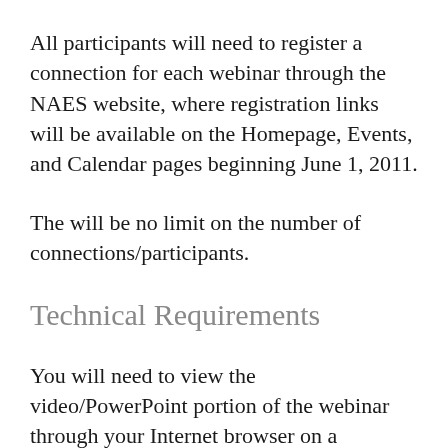All participants will need to register a connection for each webinar through the NAES website, where registration links will be available on the Homepage, Events, and Calendar pages beginning June 1, 2011.
The will be no limit on the number of connections/participants.
Technical Requirements
You will need to view the video/PowerPoint portion of the webinar through your Internet browser on a computer with Java